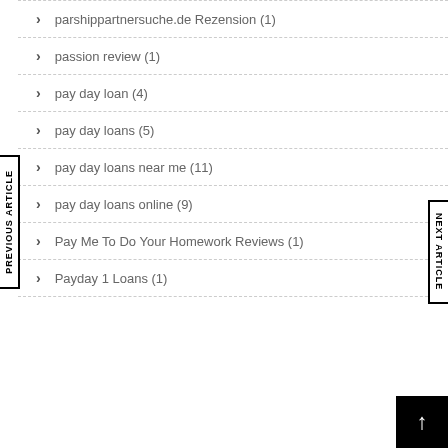parshippartnersuche.de Rezension (1)
passion review (1)
pay day loan (4)
pay day loans (5)
pay day loans near me (11)
pay day loans online (9)
Pay Me To Do Your Homework Reviews (1)
Payday 1 Loans (1)